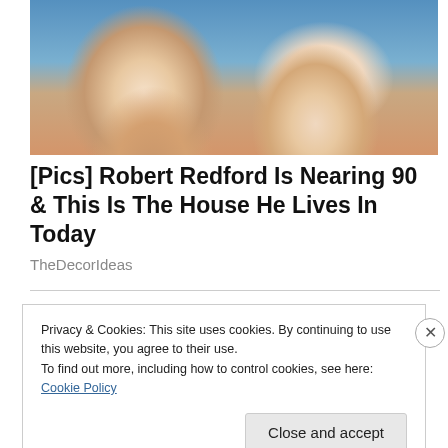[Figure (photo): Photo of an older man and woman smiling and posing cheek-to-cheek against a blue background.]
[Pics] Robert Redford Is Nearing 90 & This Is The House He Lives In Today
TheDecorIdeas
Privacy & Cookies: This site uses cookies. By continuing to use this website, you agree to their use.
To find out more, including how to control cookies, see here: Cookie Policy
Close and accept